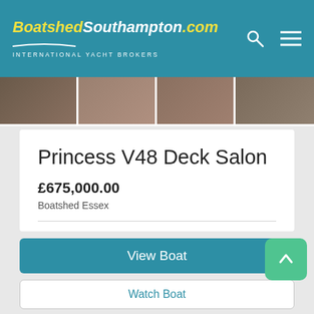BoatshedSouthampton.com INTERNATIONAL YACHT BROKERS
[Figure (photo): Thumbnail strip of boat interior photos]
Princess V48 Deck Salon
£675,000.00
Boatshed Essex
2x diesel 435hp   2016   15.49m   Essex   #306464